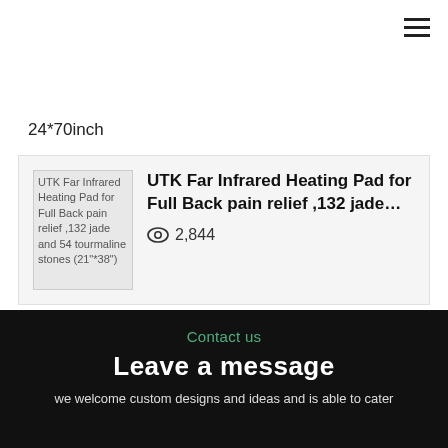≡
24*70inch
[Figure (photo): UTK Far Infrared Heating Pad for Full Back pain relief ,132 jade and 54 tourmaline stones (21"*38") - broken/placeholder image]
UTK Far Infrared Heating Pad for Full Back pain relief ,132 jade…
👁 2,844
Contact us
Leave a message
we welcome custom designs and ideas and is able to cater